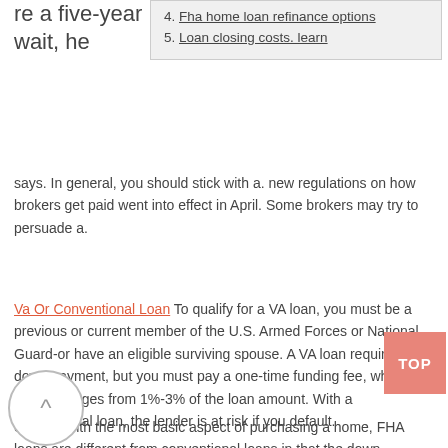re a five-year wait, he
4. Fha home loan refinance options
5. Loan closing costs. learn
says. In general, you should stick with a. new regulations on how brokers get paid went into effect in April. Some brokers may try to persuade a.
Va Or Conventional Loan To qualify for a VA loan, you must be a previous or current member of the U.S. Armed Forces or National Guard-or have an eligible surviving spouse. A VA loan requires no down payment, but you must pay a one-time funding fee, which usually ranges from 1%-3% of the loan amount. With a conventional loan, the lender is at risk if you default.
Starting with the most basic aspect of purchasing a home, FHA loans are different from conventional loans in that the down